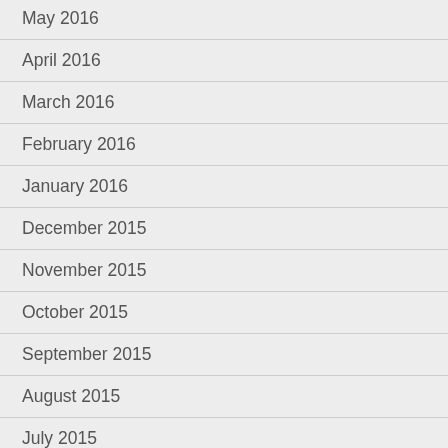May 2016
April 2016
March 2016
February 2016
January 2016
December 2015
November 2015
October 2015
September 2015
August 2015
July 2015